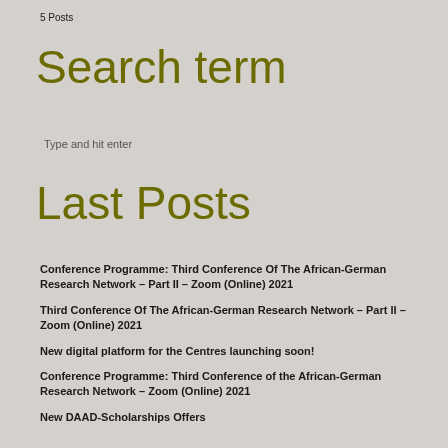5 Posts
Search term
Type and hit enter
Last Posts
Conference Programme: Third Conference Of The African-German Research Network – Part II – Zoom (Online) 2021
Third Conference Of The African-German Research Network – Part II – Zoom (Online) 2021
New digital platform for the Centres launching soon!
Conference Programme: Third Conference of the African-German Research Network – Zoom (Online) 2021
New DAAD-Scholarships Offers